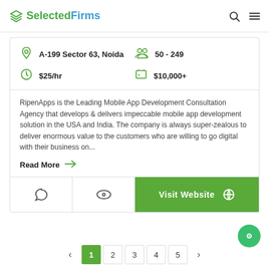SelectedFirms
A-199 Sector 63, Noida | 50 - 249 | $25/hr | $10,000+
RipenApps is the Leading Mobile App Development Consultation Agency that develops & delivers impeccable mobile app development solution in the USA and India. The company is always super-zealous to deliver enormous value to the customers who are willing to go digital with their business on...
Read More →
Visit Website
1 2 3 4 5